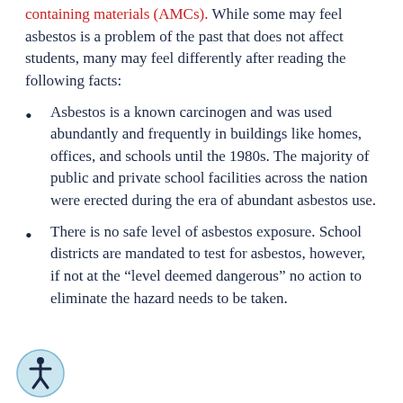containing materials (AMCs). While some may feel asbestos is a problem of the past that does not affect students, many may feel differently after reading the following facts:
Asbestos is a known carcinogen and was used abundantly and frequently in buildings like homes, offices, and schools until the 1980s. The majority of public and private school facilities across the nation were erected during the era of abundant asbestos use.
There is no safe level of asbestos exposure. School districts are mandated to test for asbestos, however, if not at the “level deemed dangerous” no action to eliminate the hazard needs to be taken.